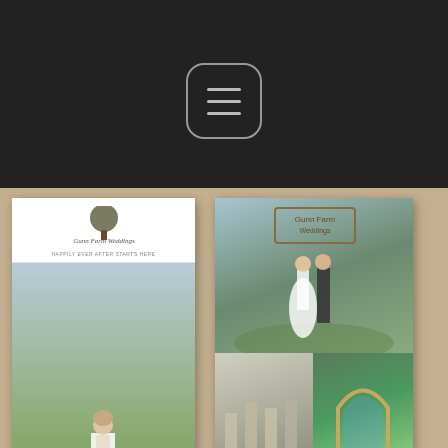[Figure (screenshot): Screenshot of a mobile website/portfolio showing rack cards designed for Gunn Farm Weddings, with a hamburger menu button at top on dark background, two rack cards displayed showing wedding photography, logo with tree, 'NEW VENUE NOW BOOKING 2016 WEDDINGS AND EVENTS!' text, phone number 031-320-0002, and a right card with multiple wedding photos and 'Reserve now for 2016' text.]
Here's a screenshot of the final product rack cards for Gunn Fa... Weddings I designed, so great to